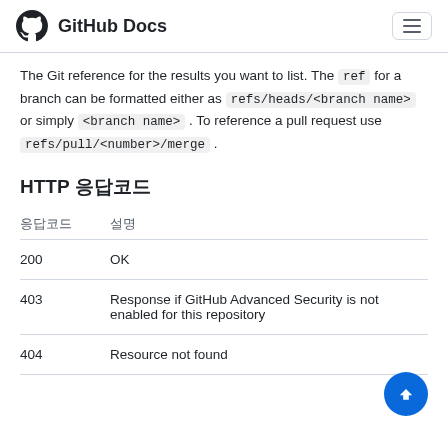GitHub Docs
The Git reference for the results you want to list. The ref for a branch can be formatted either as refs/heads/<branch name> or simply <branch name> . To reference a pull request use refs/pull/<number>/merge .
HTTP 응답코드
| 응답코드 | 설명 |
| --- | --- |
| 200 | OK |
| 403 | Response if GitHub Advanced Security is not enabled for this repository |
| 404 | Resource not found |